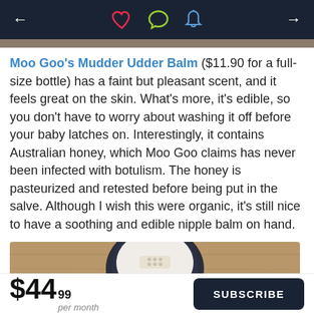← ♡ 💬 🔔 →
Moo Goo's Mudder Udder Balm ($11.90 for a full-size bottle) has a faint but pleasant scent, and it feels great on the skin. What's more, it's edible, so you don't have to worry about washing it off before your baby latches on. Interestingly, it contains Australian honey, which Moo Goo claims has never been infected with botulism. The honey is pasteurized and retested before being put in the salve. Although I wish this were organic, it's still nice to have a soothing and edible nipple balm on hand.
[Figure (photo): A dark blue ceramic bowl containing a white cream/balm, with a small rectangular piece resting across the bowl, on a wooden surface.]
$44.99 per month  SUBSCRIBE